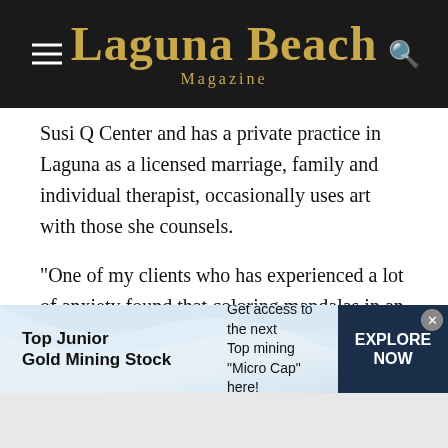Laguna Beach Magazine
Susi Q Center and has a private practice in Laguna as a licensed marriage, family and individual therapist, occasionally uses art with those she counsels.
“One of my clients who has experienced a lot of anxiety found that coloring mandalas in an adult coloring book helped to reduce stressful periods within her week,” Wenger says. “… Another client reported that from joining a watercolor class … her panic attacks decreased, and [it] helped her with her social anxiety.”
[Figure (infographic): Advertisement banner for Top Junior Gold Mining Stock. Left section: bold text 'Top Junior Gold Mining Stock'. Middle section: 'Get access to the next Top mining "Micro Cap" here!' Right section: dark navy box with 'EXPLORE NOW' in white bold text. Close button (x) in top right corner. Background has light blue wave design.]